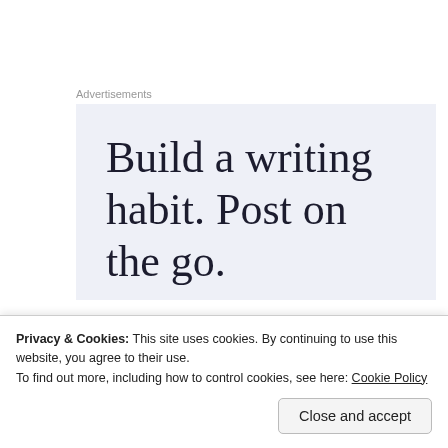Advertisements
[Figure (screenshot): Advertisement banner with light blue-gray background showing large serif text: 'Build a writing habit. Post on the go.']
Taking a ride on the golf cart back on Palm Island.
[Figure (photo): Partial photo strip showing outdoor scene with greenery]
Privacy & Cookies: This site uses cookies. By continuing to use this website, you agree to their use.
To find out more, including how to control cookies, see here: Cookie Policy
Close and accept